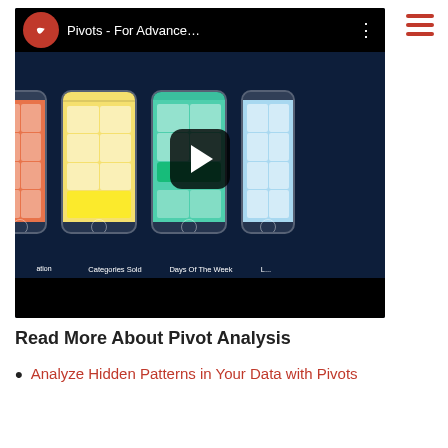[Figure (screenshot): YouTube video thumbnail showing 'Pivots - For Advance...' with a play button overlay and phone mockups showing app screens labeled 'ation', 'Categories Sold', 'Days Of The Week', 'L...' on a dark navy background]
Read More About Pivot Analysis
Analyze Hidden Patterns in Your Data with Pivots